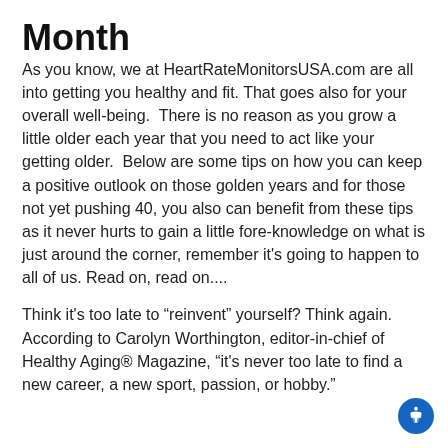Month
As you know, we at HeartRateMonitorsUSA.com are all into getting you healthy and fit. That goes also for your overall well-being.  There is no reason as you grow a little older each year that you need to act like your getting older.  Below are some tips on how you can keep a positive outlook on those golden years and for those not yet pushing 40, you also can benefit from these tips as it never hurts to gain a little fore-knowledge on what is just around the corner, remember it's going to happen to all of us. Read on, read on....
Think it's too late to “reinvent” yourself? Think again. According to Carolyn Worthington, editor-in-chief of Healthy Aging® Magazine, “it's never too late to find a new career, a new sport, passion, or hobby.”